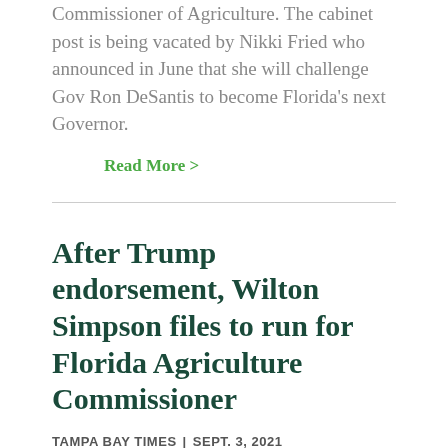Commissioner of Agriculture. The cabinet post is being vacated by Nikki Fried who announced in June that she will challenge Gov Ron DeSantis to become Florida's next Governor.
Read More >
After Trump endorsement, Wilton Simpson files to run for Florida Agriculture Commissioner
TAMPA BAY TIMES | SEPT. 3, 2021
Florida Senate President Wilton Simpson